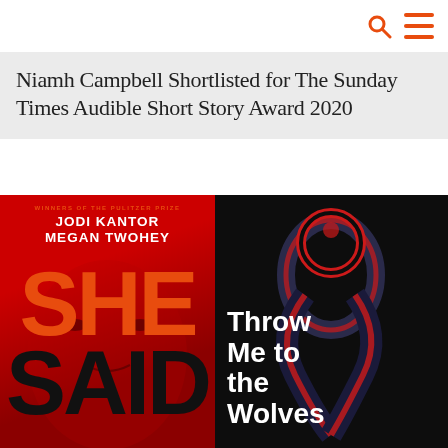[Search icon] [Menu icon]
Niamh Campbell Shortlisted for The Sunday Times Audible Short Story Award 2020
[Figure (illustration): Book cover of 'She Said' by Jodi Kantor and Megan Twohey. Red background with large bold text. Top reads 'WINNERS OF THE PULITZER PRIZE', then authors' names in white, then 'SHE' in red and 'SAID' in black.]
[Figure (illustration): Book cover of 'Throw Me to the Wolves' — dark black background with an artistic figure formed by red and dark ribbons in a loop/knot shape. White bold text reads 'Throw Me to the Wolves'.]